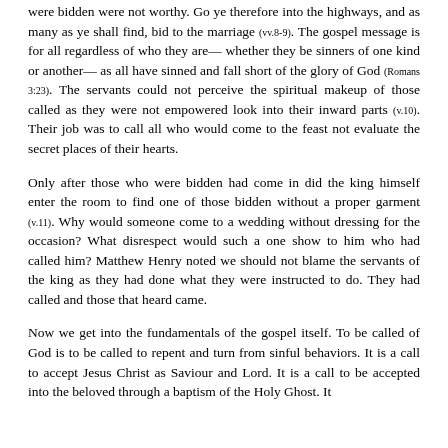were bidden were not worthy. Go ye therefore into the highways, and as many as ye shall find, bid to the marriage (vv.8-9). The gospel message is for all regardless of who they are— whether they be sinners of one kind or another— as all have sinned and fall short of the glory of God (Romans 3:23). The servants could not perceive the spiritual makeup of those called as they were not empowered look into their inward parts (v.10). Their job was to call all who would come to the feast not evaluate the secret places of their hearts.
Only after those who were bidden had come in did the king himself enter the room to find one of those bidden without a proper garment (v.11). Why would someone come to a wedding without dressing for the occasion? What disrespect would such a one show to him who had called him? Matthew Henry noted we should not blame the servants of the king as they had done what they were instructed to do. They had called and those that heard came.
Now we get into the fundamentals of the gospel itself. To be called of God is to be called to repent and turn from sinful behaviors. It is a call to accept Jesus Christ as Saviour and Lord. It is a call to be accepted into the beloved through a baptism of the Holy Ghost. It is a call to something greater. God invites, but not everyone that is called...